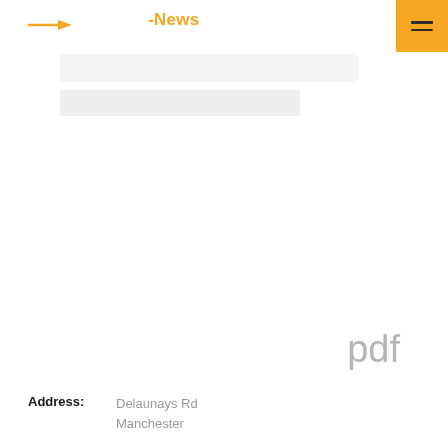-News
[Figure (logo): Orange arrow/dash logo in top left of header]
pdf
Address: Delaunays Rd Manchester